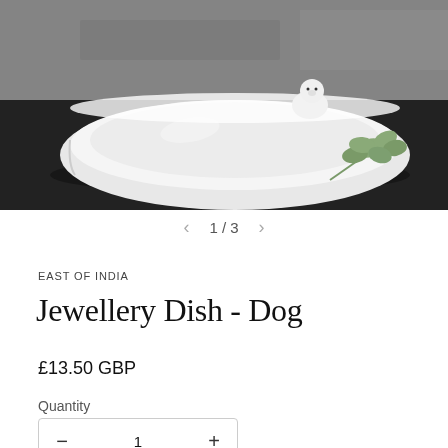[Figure (photo): White ceramic jewellery dish with a small dog figurine sitting on the rim, placed on a dark surface with a sprig of green eucalyptus leaves beside it, against a grey stone/concrete background.]
1 / 3
EAST OF INDIA
Jewellery Dish - Dog
£13.50 GBP
Quantity
We currently ship throughout the UK